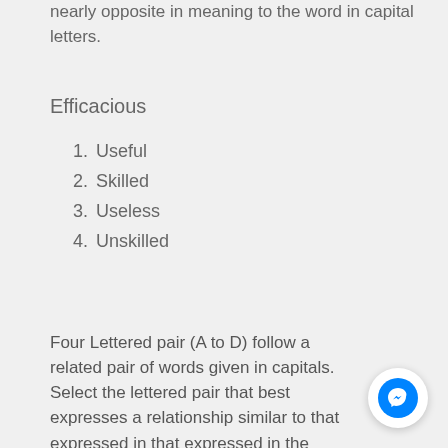nearly opposite in meaning to the word in capital letters.
Efficacious
1. Useful
2. Skilled
3. Useless
4. Unskilled
Four Lettered pair (A to D) follow a related pair of words given in capitals. Select the lettered pair that best expresses a relationship similar to that expressed in that expressed in the original pair of capitals.